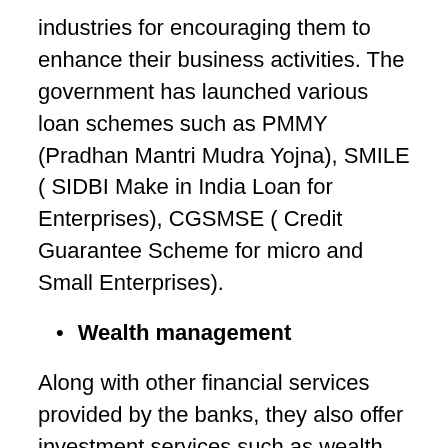industries for encouraging them to enhance their business activities. The government has launched various loan schemes such as PMMY (Pradhan Mantri Mudra Yojna), SMILE ( SIDBI Make in India Loan for Enterprises), CGSMSE ( Credit Guarantee Scheme for micro and Small Enterprises).
Wealth management
Along with other financial services provided by the banks, they also offer investment services such as wealth management. This allows their customers to manage their finances for long-term growth in wealth. There are a variety of private sector banks that provide a comprehensive suit for wealth